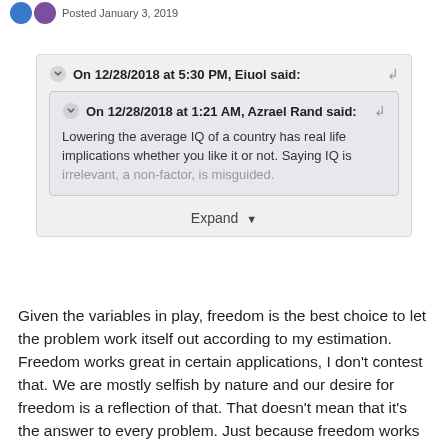Posted January 3, 2019
On 12/28/2018 at 5:30 PM, Eiuol said:
On 12/28/2018 at 1:21 AM, Azrael Rand said:
Lowering the average IQ of a country has real life implications whether you like it or not. Saying IQ is irrelevant, a non-factor, is misguided.
Expand
Given the variables in play, freedom is the best choice to let the problem work itself out according to my estimation. Freedom works great in certain applications, I don't contest that. We are mostly selfish by nature and our desire for freedom is a reflection of that. That doesn't mean that it's the answer to every problem. Just because freedom works in certain applications given certain environmental factors doesn't mean it's the solution to everything. I don't think it's a good idea for the US to allow its